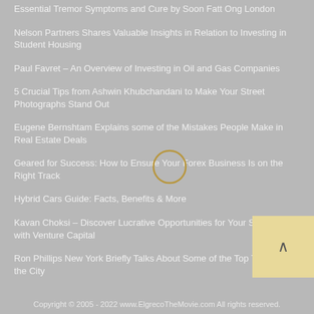Essential Tremor Symptoms and Cure by Soon Fatt Ong London
Nelson Partners Shares Valuable Insights in Relation to Investing in Student Housing
Paul Favret – An Overview of Investing in Oil and Gas Companies
5 Crucial Tips from Ashwin Khubchandani to Make Your Street Photographs Stand Out
Eugene Bernshtam Explains some of the Mistakes People Make in Real Estate Deals
Geared for Success: How to Ensure Your Forex Business Is on the Right Track
Hybrid Cars Guide: Facts, Benefits & More
Kavan Choksi – Discover Lucrative Opportunities for Your Start-Up with Venture Capital
Ron Phillips New York Briefly Talks About Some of the Top Teams of the City
Copyright © 2005 - 2022 www.ElgrecoTheMovie.com All rights reserved.